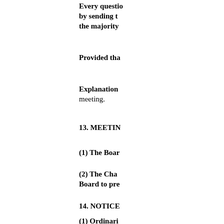Every question … by sending t… the majority…
Provided tha…
Explanation… meeting.
13. MEETIN…
(1) The Boar…
(2) The Cha… Board to pre…
14. NOTICE…
(1) Ordinari…
(2) No busin… Chairman.
15. Quorum
No busin…